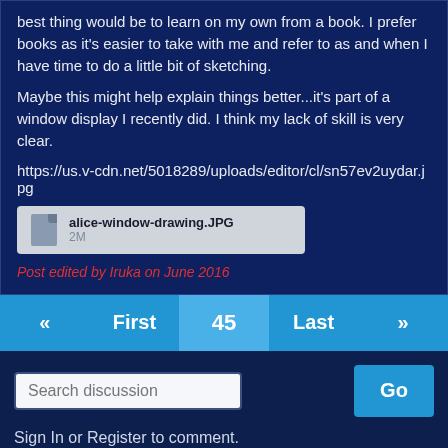best thing would be to learn on my own from a book. I prefer books as it's easier to take with me and refer to as and when I have time to do a little bit of sketching.
Maybe this might help explain things better...it's part of a window display I recently did. I think my lack of skill is very clear.
https://us.v-cdn.net/5018289/uploads/editor/cl/sn57ev2uydar.jpg
[Figure (other): File attachment: alice-window-drawing.JPG, 2M]
Post edited by Iruka on June 2016
« First 45 Last »
Search discussion
Sign In or Register to comment.